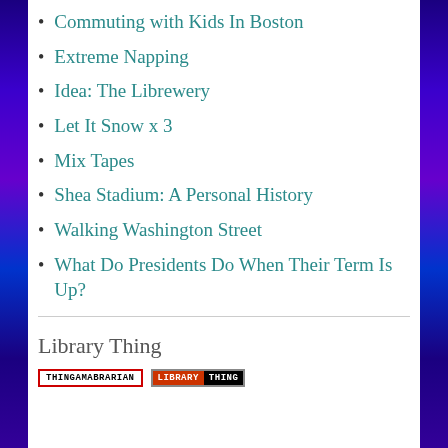Commuting with Kids In Boston
Extreme Napping
Idea: The Librewery
Let It Snow x 3
Mix Tapes
Shea Stadium: A Personal History
Walking Washington Street
What Do Presidents Do When Their Term Is Up?
Library Thing
[Figure (logo): Two badges: THINGAMABRARIAN in red border, and LIBRARY THING with red and black split background]